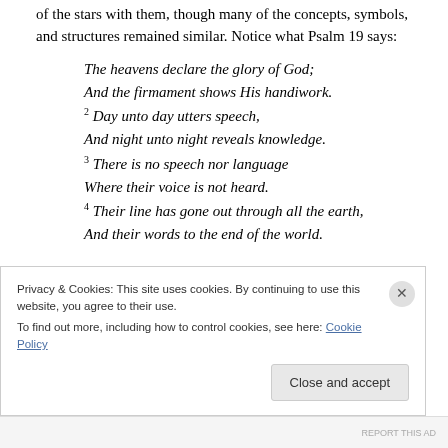of the stars with them, though many of the concepts, symbols, and structures remained similar. Notice what Psalm 19 says:
The heavens declare the glory of God;
And the firmament shows His handiwork.
2 Day unto day utters speech,
And night unto night reveals knowledge.
3 There is no speech nor language
Where their voice is not heard.
4 Their line has gone out through all the earth,
And their words to the end of the world.
Privacy & Cookies: This site uses cookies. By continuing to use this website, you agree to their use.
To find out more, including how to control cookies, see here: Cookie Policy